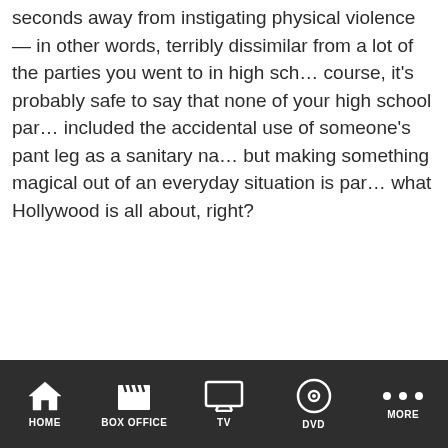seconds away from instigating physical violence — in other words, terribly dissimilar from a lot of the parties you went to in high school. Of course, it's probably safe to say that none of your high school parties included the accidental use of someone's pant leg as a sanitary napkin, but making something magical out of an everyday situation is part of what Hollywood is all about, right?
[Figure (other): Mobile app navigation bar with icons: HOME (house icon), BOX OFFICE (clapperboard icon), TV (monitor icon), DVD (disc icon), MORE (three dots icon)]